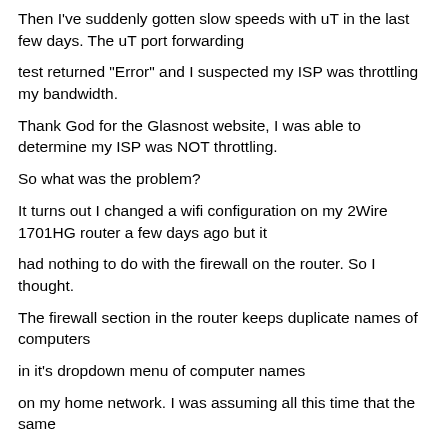Then I've suddenly gotten slow speeds with uT in the last few days. The uT port forwarding
test returned "Error" and I suspected my ISP was throttling my bandwidth.
Thank God for the Glasnost website, I was able to determine my ISP was NOT throttling.
So what was the problem?
It turns out I changed a wifi configuration on my 2Wire 1701HG router a few days ago but it
had nothing to do with the firewall on the router. So I thought.
The firewall section in the router keeps duplicate names of computers
in it's dropdown menu of computer names
on my home network. I was assuming all this time that the same
name maps to the same computer. This was a wrong assumption.
Like there was 3 listings for "Computer ABC" but only one of them